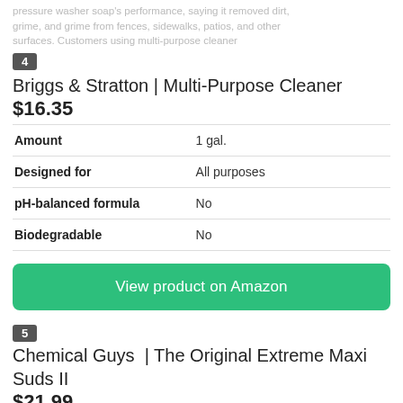pressure washer soap's performance, saying it removed dirt, grime, and grime from fences, sidewalks, patios, and other surfaces. Customers using multi-purpose cleaner
4
Briggs & Stratton | Multi-Purpose Cleaner
$16.35
|  |  |
| --- | --- |
| Amount | 1 gal. |
| Designed for | All purposes |
| pH-balanced formula | No |
| Biodegradable | No |
View product on Amazon
5
Chemical Guys  | The Original Extreme Maxi Suds II
$21.99
[Figure (photo): Jug of Chemical Guys red car soap product, white/clear plastic bottle with red liquid, partially shown]